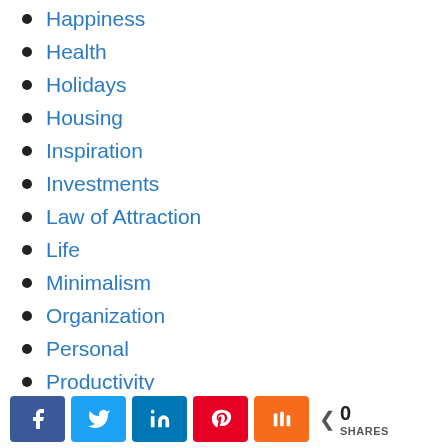Happiness
Health
Holidays
Housing
Inspiration
Investments
Law of Attraction
Life
Minimalism
Organization
Personal
Productivity
Recycling
Retirement
0 SHARES (social share bar with Facebook, Twitter, LinkedIn, Pinterest, Mix buttons)